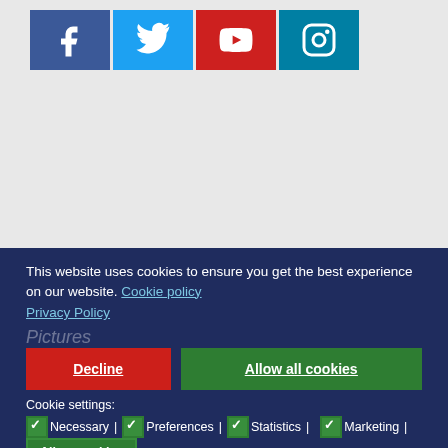[Figure (infographic): Four social media icon buttons: Facebook (blue), Twitter (light blue), YouTube (red), Instagram (teal)]
This website uses cookies to ensure you get the best experience on our website. Cookie policy
Privacy Policy
Pictures
Decline
Allow all cookies
Cookie settings:
✓Necessary | ✓Preferences | ✓Statistics | ✓Marketing | Allow cookies